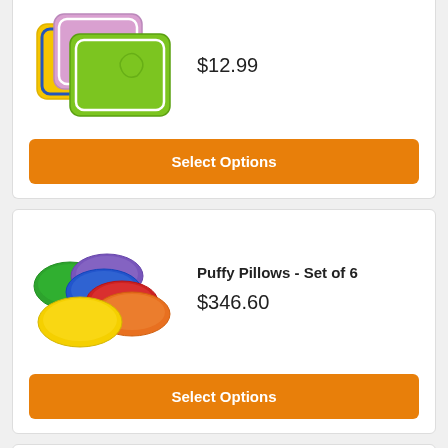[Figure (photo): Colorful fabric mats in yellow, pink/purple, and green colors stacked]
$12.99
Select Options
[Figure (photo): Puffy Pillows set of 6 in various colors: green, purple, blue, red, orange, yellow]
Puffy Pillows - Set of 6
$346.60
Select Options